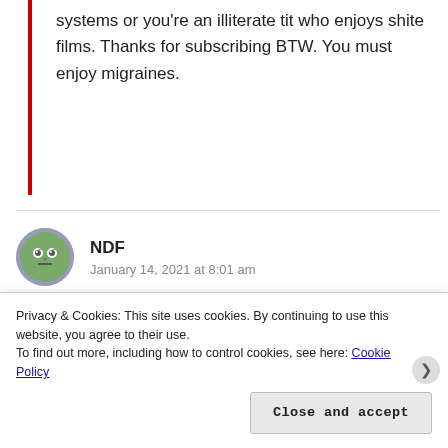systems or you're an illiterate tit who enjoys shite films. Thanks for subscribing BTW. You must enjoy migraines.
NDF
January 14, 2021 at 8:01 am
Shit movie. Perfect description. Trump is an ass most of the time, sure, but he's not worse than the majority of our “representatives” but that doesn’t account for much necessarily. I could understand maybe leaving that part out of the review but the rest is spot on. Shit
Privacy & Cookies: This site uses cookies. By continuing to use this website, you agree to their use.
To find out more, including how to control cookies, see here: Cookie Policy
Close and accept